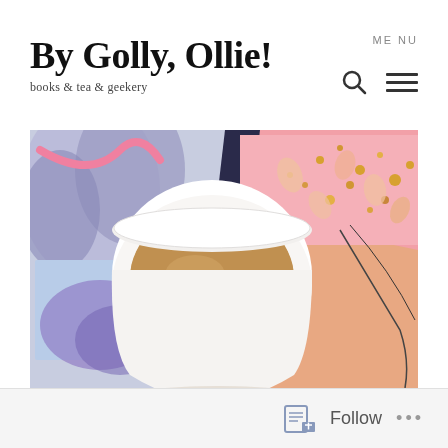By Golly, Ollie!
books & tea & geekery
[Figure (photo): Overhead photo of a white ceramic mug filled with amber tea, surrounded by colorful paper artwork with floral/abstract designs in pink, blue, lavender, and peach/salmon tones with gold glitter accents.]
Follow ...